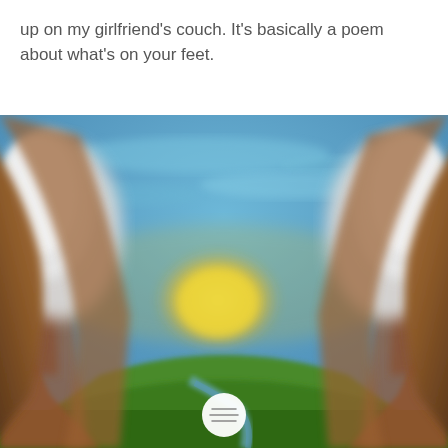up on my girlfriend's couch. It's basically a poem about what's on your feet.
[Figure (illustration): A colorful digital painting viewed from ground level between two fuzzy white-and-brown socked or furred feet/legs, looking out at a landscape with green grass, brown earth tones, a blue sky with yellow sun, and a small blue stream in the distance. A small white circular UI button with a menu icon is visible at the bottom center.]